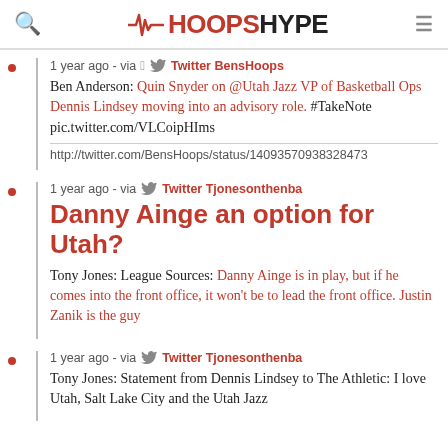HOOPSHYPE
1 year ago - via Twitter BensHoops
Ben Anderson: Quin Snyder on @Utah Jazz VP of Basketball Ops Dennis Lindsey moving into an advisory role. #TakeNote pic.twitter.com/VLCoipHIms
http://twitter.com/BensHoops/status/14093570938328473
1 year ago - via Twitter Tjonesonthenba
Danny Ainge an option for Utah?
Tony Jones: League Sources: Danny Ainge is in play, but if he comes into the front office, it won't be to lead the front office. Justin Zanik is the guy
1 year ago - via Twitter Tjonesonthenba
Tony Jones: Statement from Dennis Lindsey to The Athletic: I love Utah, Salt Lake City and the Utah Jazz